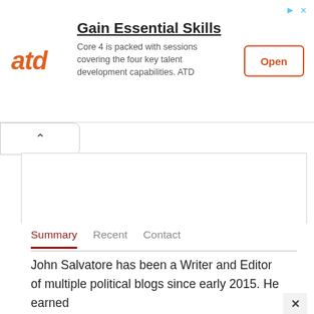[Figure (screenshot): ATD advertisement banner with logo, headline 'Gain Essential Skills', description text, and an 'Open' button]
Summary   Recent   Contact
John Salvatore has been a Writer and Editor of multiple political blogs since early 2015. He earned